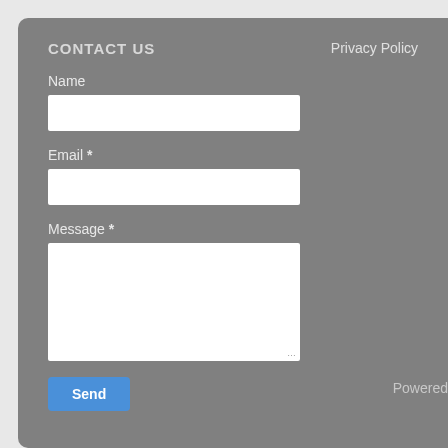CONTACT US
Privacy Policy
Name
Email *
Message *
Send
Powered